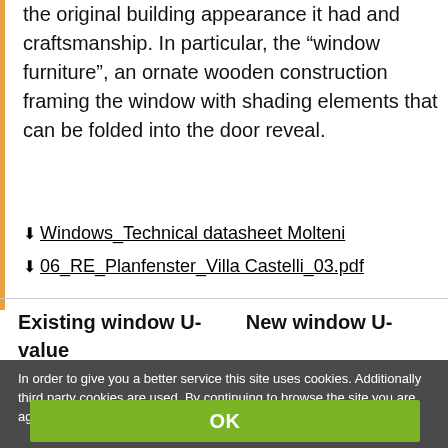the original building appearance it had and craftsmanship. In particular, the “window furniture”, an ornate wooden construction framing the window with shading elements that can be folded into the door reveal.
⬇ Windows_Technical datasheet Molteni
⬇ 06_RE_Planfenster_Villa Castelli_03.pdf
Existing window U-        New window U-value
In order to give you a better service this site uses cookies. Additionally third party cookies are used. By continuing to browse the site you are agreeing to our use of cookies. More information
OK